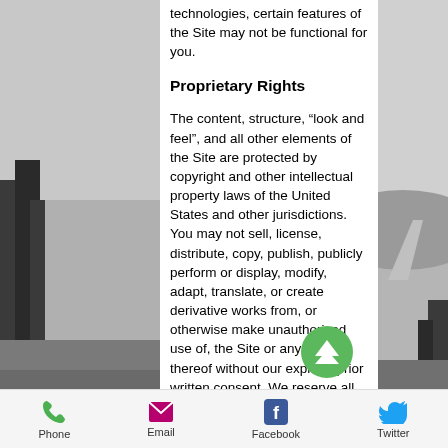technologies, certain features of the Site may not be functional for you.
Proprietary Rights
The content, structure, “look and feel”, and all other elements of the Site are protected by copyright and other intellectual property laws of the United States and other jurisdictions. You may not sell, license, distribute, copy, publish, publicly perform or display, modify, adapt, translate, or create derivative works from, or otherwise make unauthorized use of, the Site or any portion thereof without our express prior written consent. We reserve all
Phone  Email  Facebook  Twitter